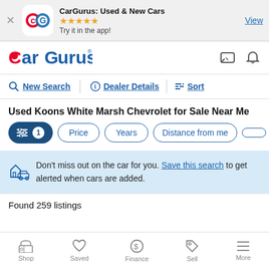[Figure (screenshot): CarGurus app banner with logo, 5 stars, 'Try it in the app!' text, and View link]
[Figure (logo): CarGurus logo in red and blue text]
New Search
Dealer Details
Sort
Used Koons White Marsh Chevrolet for Sale Near Me
Price  Years  Distance from me
Don't miss out on the car for you. Save this search to get alerted when cars are added.
Found 259 listings
Shop  Saved  Finance  Sell  More